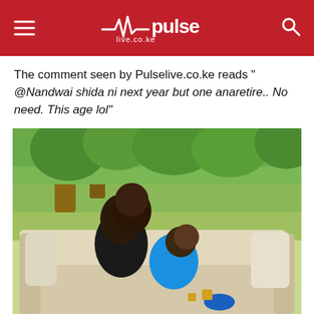pulse live.co.ke
The comment seen by Pulselive.co.ke reads " @Nandwai shida ni next year but one anaretire.. No need. This age lol"
[Figure (photo): A couple sitting on a beige outdoor sofa in a lush green garden setting. A woman with long curly black hair wearing a black outfit leans over a smiling man wearing a blue patterned shirt and black pants with blue sandals.]